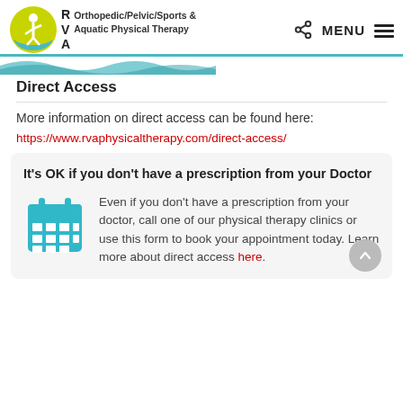[Figure (logo): RVA Orthopedic/Pelvic/Sports & Aquatic Physical Therapy logo with circular emblem and wave banner]
Direct Access
More information on direct access can be found here:
https://www.rvaphysicaltherapy.com/direct-access/
It's OK if you don't have a prescription from your Doctor
Even if you don't have a prescription from your doctor, call one of our physical therapy clinics or use this form to book your appointment today. Learn more about direct access here.